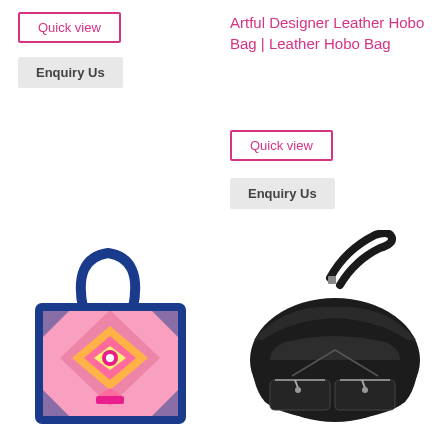Quick view
Enquiry Us
Artful Designer Leather Hobo Bag | Leather Hobo Bag
Quick view
Enquiry Us
[Figure (photo): Colorful patterned tote bag with blue handles and aztec/geometric multicolor design]
[Figure (photo): Black leather hobo shoulder bag with two front zip pockets and adjustable strap]